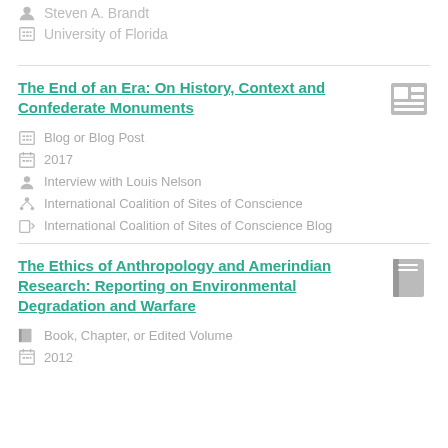Steven A. Brandt
University of Florida
The End of an Era: On History, Context and Confederate Monuments
Blog or Blog Post
2017
Interview with Louis Nelson
International Coalition of Sites of Conscience
International Coalition of Sites of Conscience Blog
The Ethics of Anthropology and Amerindian Research: Reporting on Environmental Degradation and Warfare
Book, Chapter, or Edited Volume
2012